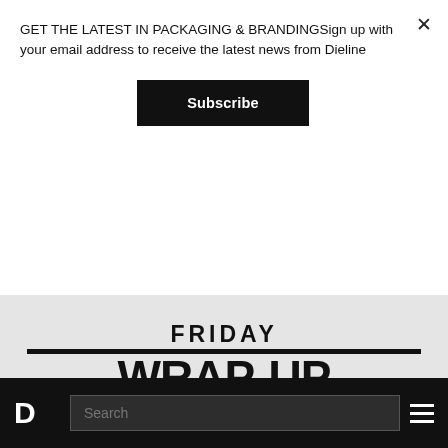GET THE LATEST IN PACKAGING & BRANDINGSign up with your email address to receive the latest news from Dieline
[Figure (illustration): Newsletter subscription modal with close X button and Subscribe button]
[Figure (photo): Gray banner image showing bold text 'FRIDAY WRAP-UP' in black on light gray background]
DESIGN NEWS & TRENDS
08/26/2022
Dieline’s Friday Wrap-Up: Wind Turbine Gummy Bears, the Wienermobile, and ‘Little Chocolate Vapes’
D | Search | menu